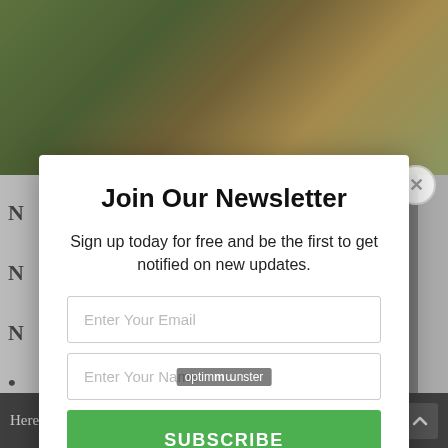[Figure (photo): Background photo of cannabis buds, American flag, and money/banknotes on a table]
Join Our Newsletter
Sign up today for free and be the first to get notified on new updates.
Enter Your Email
Enter Your Name
SUBSCRIBE
We do not sell or share your information with anyone.
Here on the Marijuana Minute, you will